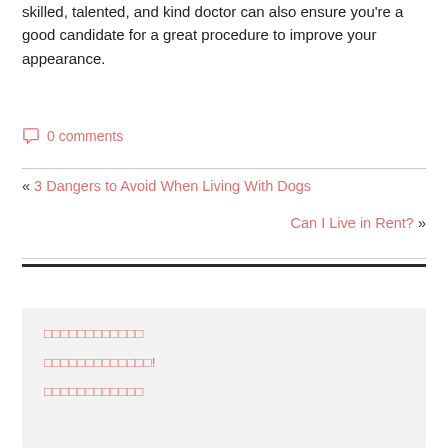skilled, talented, and kind doctor can also ensure you're a good candidate for a great procedure to improve your appearance.
0 comments
« 3 Dangers to Avoid When Living With Dogs
Can I Live in Rent? »
[sidebar block with garbled/encoded link text]